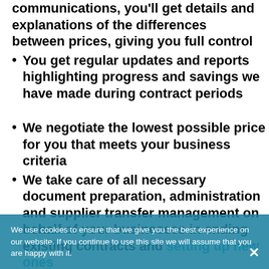communications, you'll get details and explanations of the differences between prices, giving you full control
You get regular updates and reports highlighting progress and savings we have made during contract periods
We negotiate the lowest possible price for you that meets your business criteria
We take care of all necessary document preparation, administration and supplier transfer management on behalf of your businesses in ending existing contracts and setting up new ones
We facilitate your budgeting and administration with monitoring and reporting
We help keep your future costs and
We use cookies to ensure that we give you the best experience on our website. If you continue to use this site we will assume that you are happy with it.